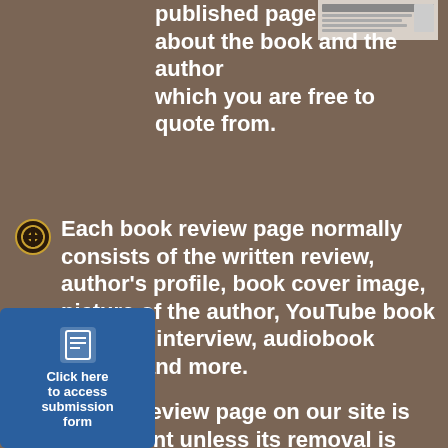[Figure (screenshot): Small thumbnail image of a webpage in the top right corner]
published page about the book and the author which you are free to quote from.
Each book review page normally consists of the written review, author's profile, book cover image, picture of the author, YouTube book trailer or interview, audiobook sample and more.
A book review page on our site is permanent unless its removal is requested by you the author.
Submitted audiobooks, can
[Figure (illustration): Blue box with form icon and text: Click here to access submission form]